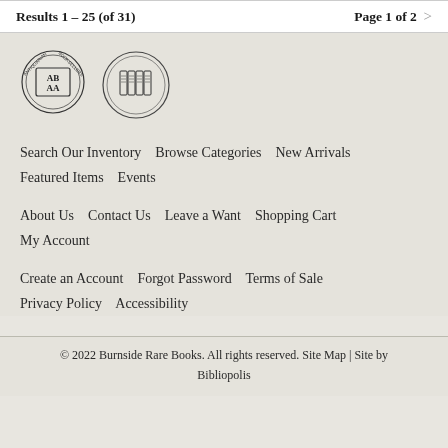Results 1 - 25 (of 31)    Page 1 of 2  >
[Figure (logo): ABAA (Antiquarian Booksellers Association of America) circular logo with AB/AA letters in center]
[Figure (logo): ILAB (International League of Antiquarian Booksellers) circular logo with books in center]
Search Our Inventory    Browse Categories    New Arrivals    Featured Items    Events
About Us    Contact Us    Leave a Want    Shopping Cart    My Account
Create an Account    Forgot Password    Terms of Sale    Privacy Policy    Accessibility
© 2022 Burnside Rare Books. All rights reserved. Site Map | Site by Bibliopolis